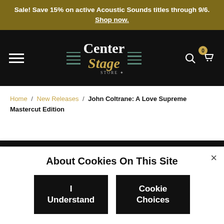Sale! Save 15% on active Acoustic Sounds titles through 9/6. Shop now.
[Figure (logo): Center Stage Store logo with hamburger menu, teal decorative lines, gold and white serif logo text, search icon, and cart icon with 0 badge on black navbar]
Home / New Releases / John Coltrane: A Love Supreme Mastercut Edition
About Cookies On This Site
I Understand
Cookie Choices